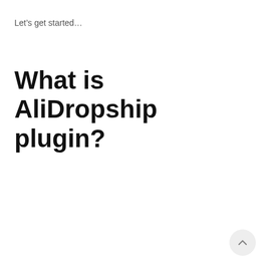Let's get started…
What is AliDropship plugin?